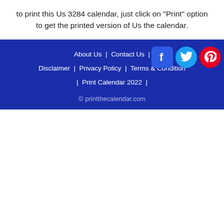to print this Us 3284 calendar, just click on "Print" option to get the printed version of Us the calendar.
About Us | Contact Us | Disclaimer | Privacy Policy | Terms & Condition | Print Calendar 2022 | © printthecalendar.com